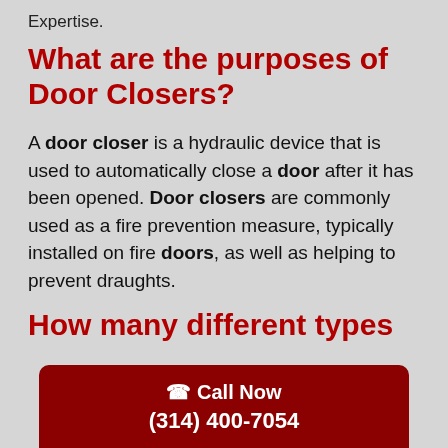Expertise.
What are the purposes of Door Closers?
A door closer is a hydraulic device that is used to automatically close a door after it has been opened. Door closers are commonly used as a fire prevention measure, typically installed on fire doors, as well as helping to prevent draughts.
How many different types
📞 Call Now (314) 400-7054